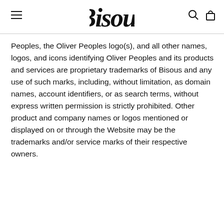Bisous
Peoples, the Oliver Peoples logo(s), and all other names, logos, and icons identifying Oliver Peoples and its products and services are proprietary trademarks of Bisous and any use of such marks, including, without limitation, as domain names, account identifiers, or as search terms, without express written permission is strictly prohibited. Other product and company names or logos mentioned or displayed on or through the Website may be the trademarks and/or service marks of their respective owners.